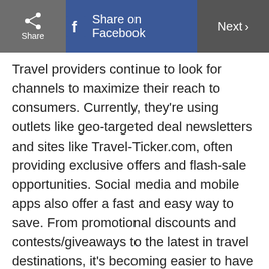Share | Share on Facebook | Next
Travel providers continue to look for channels to maximize their reach to consumers. Currently, they're using outlets like geo-targeted deal newsletters and sites like Travel-Ticker.com, often providing exclusive offers and flash-sale opportunities. Social media and mobile apps also offer a fast and easy way to save. From promotional discounts and contests/giveaways to the latest in travel destinations, it's becoming easier to have other people bring the information right to you. By simply following and “friending” travel experts and providers, keeping an eye on popular hashtags (e.g. #TravelTuesday), conducting Twitter searches, and downloading the most current mobile travel apps, honeymooners can let